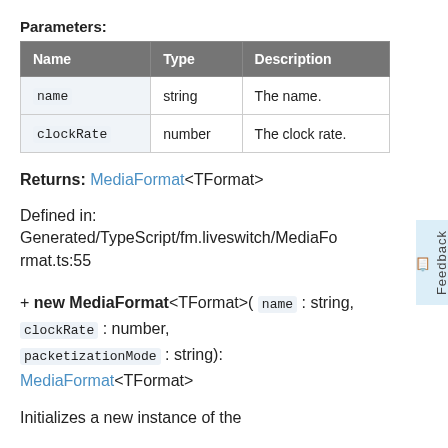Parameters:
| Name | Type | Description |
| --- | --- | --- |
| name | string | The name. |
| clockRate | number | The clock rate. |
Returns: MediaFormat<TFormat>
Defined in:
Generated/TypeScript/fm.liveswitch/MediaFormat.ts:55
+ new MediaFormat<TFormat>( name : string, clockRate : number, packetizationMode : string): MediaFormat<TFormat>
Initializes a new instance of the...